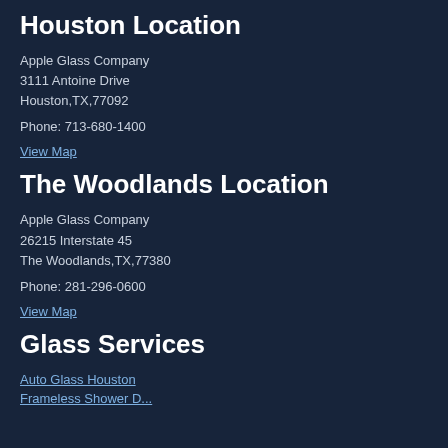Houston Location
Apple Glass Company
3111 Antoine Drive
Houston,TX,77092
Phone: 713-680-1400
View Map
The Woodlands Location
Apple Glass Company
26215 Interstate 45
The Woodlands,TX,77380
Phone: 281-296-0600
View Map
Glass Services
Auto Glass Houston
Frameless Shower D...